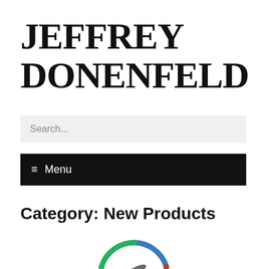JEFFREY DONENFELD
Search...
☰ Menu
Category: New Products
[Figure (logo): Circular logo with blue, green, and red arc segments surrounding a gray airplane silhouette, partially visible at bottom of page]